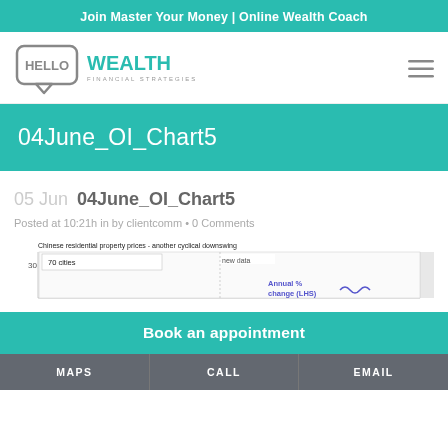Join Master Your Money | Online Wealth Coach
[Figure (logo): Hello Wealth Financial Strategies logo with speech bubble icon]
04June_OI_Chart5
05 Jun  04June_OI_Chart5
Posted at 10:21h in by clientcomm • 0 Comments
[Figure (continuous-plot): Partial view of a chart titled 'Chinese residential property prices - another cyclical downswing' showing 70 cities data with Annual % change (LHS) line, y-axis values 30 on left and 5,4 on right, with 'new data' label]
Book an appointment
MAPS   CALL   EMAIL